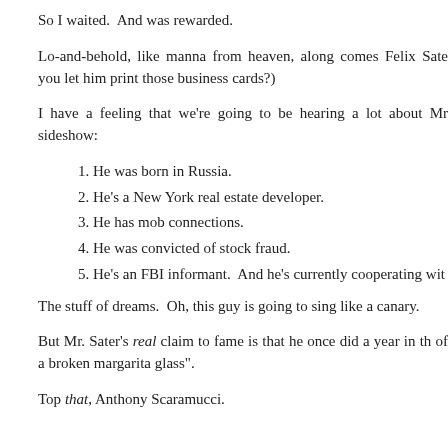So I waited.  And was rewarded.
Lo-and-behold, like manna from heaven, along comes Felix Sate you let him print those business cards?)
I have a feeling that we're going to be hearing a lot about Mr sideshow:
1. He was born in Russia.
2. He's a New York real estate developer.
3. He has mob connections.
4. He was convicted of stock fraud.
5. He's an FBI informant.  And he's currently cooperating wit
The stuff of dreams.  Oh, this guy is going to sing like a canary.
But Mr. Sater's real claim to fame is that he once did a year in th of a broken margarita glass".
Top that, Anthony Scaramucci.